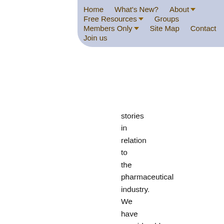Home  What's New?  About  Free Resources  Groups  Members Only  Site Map  Contact  Join us
stories in relation to the pharmaceutical industry. We have considerable accumulated expertise in this area ourselves and connections with other organisations are valuable to journalists. We